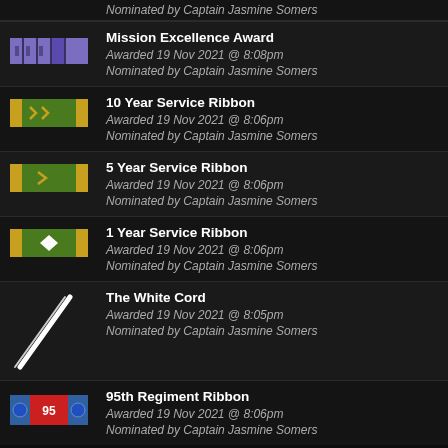Nominated by Captain Jasmine Somers
Mission Excellence Award | Awarded 19 Nov 2021 @ 8:08pm | Nominated by Captain Jasmine Somers
10 Year Service Ribbon | Awarded 19 Nov 2021 @ 8:06pm | Nominated by Captain Jasmine Somers
5 Year Service Ribbon | Awarded 19 Nov 2021 @ 8:06pm | Nominated by Captain Jasmine Somers
1 Year Service Ribbon | Awarded 19 Nov 2021 @ 8:06pm | Nominated by Captain Jasmine Somers
The White Cord | Awarded 19 Nov 2021 @ 8:05pm | Nominated by Captain Jasmine Somers
95th Regiment Ribbon | Awarded 19 Nov 2021 @ 8:06pm | Nominated by Captain Jasmine Somers